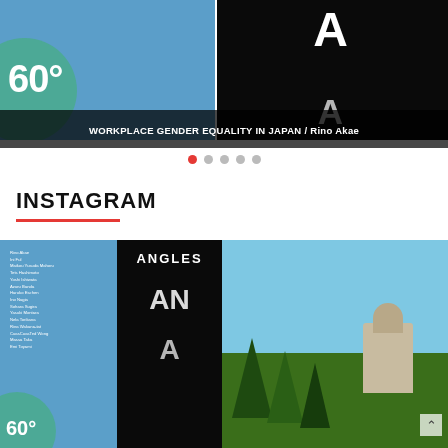[Figure (photo): Hero banner with two panels: left panel showing blue background with teal circle and '60°' text; right panel showing black background with large white letter 'A'. Below is a dark caption bar.]
WORKPLACE GENDER EQUALITY IN JAPAN / Rino Akae
[Figure (infographic): Carousel navigation dots: five dots, first one red/active, rest gray]
INSTAGRAM
[Figure (photo): Instagram grid: left image showing blue book cover with names list and 'ANGLES' text on black spine, right image showing outdoor photo with trees and Japanese parliament building under blue sky]